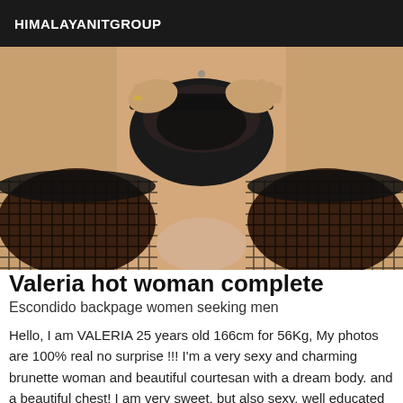HIMALAYANITGROUP
[Figure (photo): Close-up photo of a woman wearing black lace underwear and black fishnet stockings, pulling up the waistband of the underwear.]
Valeria hot woman complete
Escondido backpage women seeking men
Hello, I am VALERIA 25 years old 166cm for 56Kg, My photos are 100% real no surprise !!! I'm a very sexy and charming brunette woman and beautiful courtesan with a dream body. and a beautiful chest! I am very sweet, but also sexy, well educated and discreet, very pretty face